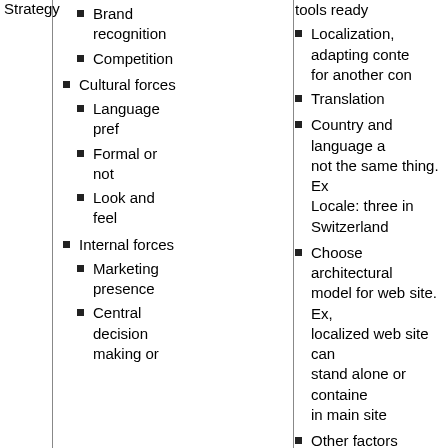Strategy
Brand recognition
Competition
Cultural forces
Language pref
Formal or not
Look and feel
Internal forces
Marketing presence
Central decision making or
tools ready
Localization, adapting content for another cont
Translation
Country and language are not the same thing. Ex Locale: three in Switzerland
Choose architectural model for web site. Ex, localized web site can stand alone or contained in main site
Other factors
Your CMS